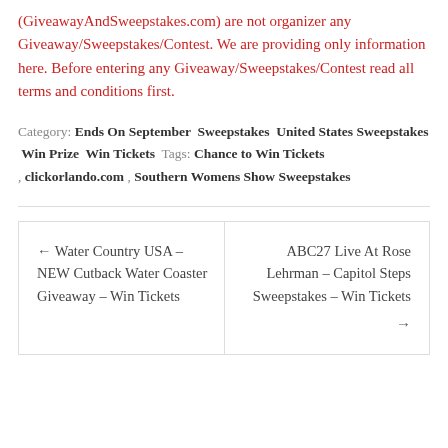(GiveawayAndSweepstakes.com) are not organizer any Giveaway/Sweepstakes/Contest. We are providing only information here. Before entering any Giveaway/Sweepstakes/Contest read all terms and conditions first.
Category: Ends On September  Sweepstakes  United States Sweepstakes  Win Prize  Win Tickets  Tags: Chance to Win Tickets , clickorlando.com , Southern Womens Show Sweepstakes
← Water Country USA – NEW Cutback Water Coaster Giveaway – Win Tickets
ABC27 Live At Rose Lehrman – Capitol Steps Sweepstakes – Win Tickets →